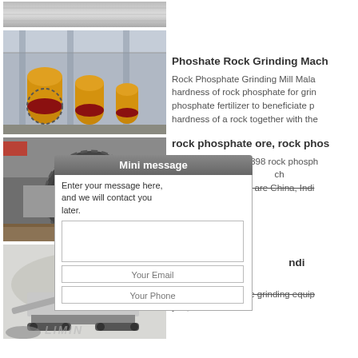[Figure (photo): Close-up of what appears to be a textured metal or material surface, partially visible at top of left column]
[Figure (photo): Factory interior showing a row of large yellow ball mill grinding machines with red ring gears on a factory floor]
Phoshate Rock Grinding Mach
Rock Phosphate Grinding Mill Mala hardness of rock phosphate for grin phosphate fertilizer to beneficiate p hardness of a rock together with the
[Figure (photo): Close-up of a large ball mill showing the ring gear and mill shell in a factory setting, with wooden pallet visible]
rock phosphate ore, rock phos
Alibaba.com offers 398 rock phosph available ch countries of regions are China, Indi respective
[Figure (screenshot): Mini message popup dialog box with text area saying 'Enter your message here, and we will contact you later.' with fields for Your Email and Your Phone]
Grinding ndi
Alibaba.co g m crusher, and blis are grinding equip you, such ill
[Figure (photo): Outdoor mobile crusher/grinding machine with conveyor belts and crawler tracks, with LIMING logo watermark, rock pile visible nearby]